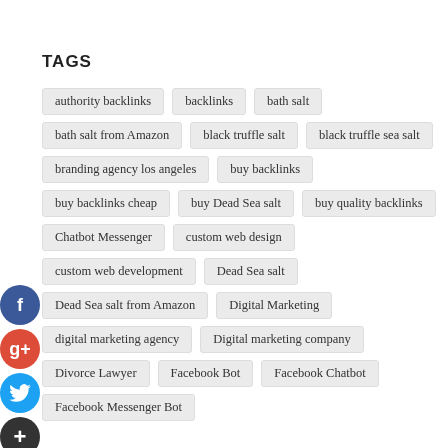TAGS
authority backlinks
backlinks
bath salt
bath salt from Amazon
black truffle salt
black truffle sea salt
branding agency los angeles
buy backlinks
buy backlinks cheap
buy Dead Sea salt
buy quality backlinks
Chatbot Messenger
custom web design
custom web development
Dead Sea salt
Dead Sea salt from Amazon
Digital Marketing
digital marketing agency
Digital marketing company
Divorce Lawyer
Facebook Bot
Facebook Chatbot
Facebook Messenger Bot